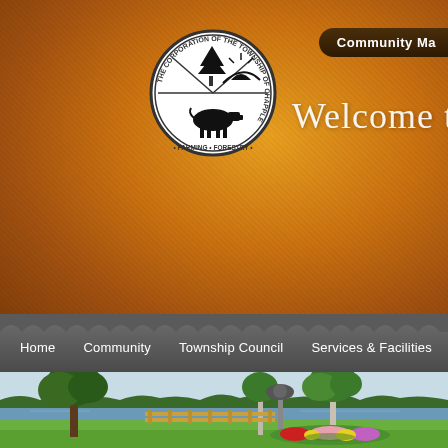Community Ma
[Figure (logo): The Corporation of the Township of Chapple circular seal/logo showing a pine tree, sun, cow, with text FARMING, FORESTRY around the border]
Welcome to the
Home   Community   Township Council   Services & Facilities   Pla
[Figure (photo): Park scene with green lawn, flower garden, ornamental lamp post, wooden fence/dock, trees, and lake/river in background on a sunny day]